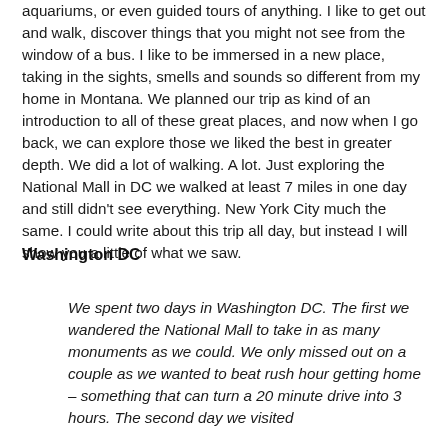aquariums, or even guided tours of anything. I like to get out and walk, discover things that you might not see from the window of a bus. I like to be immersed in a new place, taking in the sights, smells and sounds so different from my home in Montana. We planned our trip as kind of an introduction to all of these great places, and now when I go back, we can explore those we liked the best in greater depth. We did a lot of walking. A lot. Just exploring the National Mall in DC we walked at least 7 miles in one day and still didn't see everything. New York City much the same. I could write about this trip all day, but instead I will show you a little of what we saw.
Washington DC
We spent two days in Washington DC. The first we wandered the National Mall to take in as many monuments as we could. We only missed out on a couple as we wanted to beat rush hour getting home – something that can turn a 20 minute drive into 3 hours. The second day we visited Arlington Cemetery and the National Cathedral and Mo...